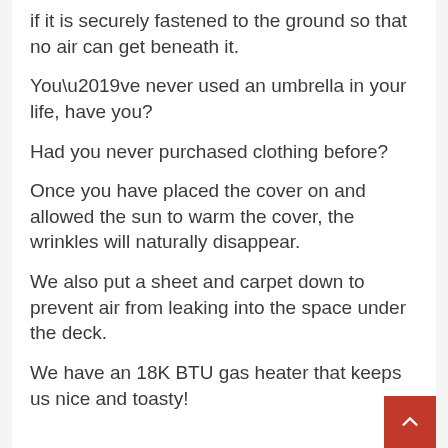if it is securely fastened to the ground so that no air can get beneath it.
You’ve never used an umbrella in your life, have you?
Had you never purchased clothing before?
Once you have placed the cover on and allowed the sun to warm the cover, the wrinkles will naturally disappear.
We also put a sheet and carpet down to prevent air from leaking into the space under the deck.
We have an 18K BTU gas heater that keeps us nice and toasty!